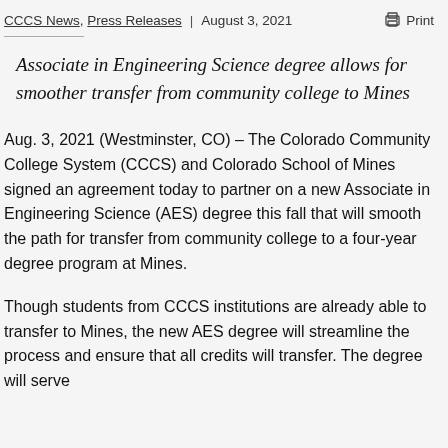CCCS News, Press Releases | August 3, 2021 Print
Associate in Engineering Science degree allows for smoother transfer from community college to Mines
Aug. 3, 2021 (Westminster, CO) – The Colorado Community College System (CCCS) and Colorado School of Mines signed an agreement today to partner on a new Associate in Engineering Science (AES) degree this fall that will smooth the path for transfer from community college to a four-year degree program at Mines.
Though students from CCCS institutions are already able to transfer to Mines, the new AES degree will streamline the process and ensure that all credits will transfer. The degree will serve